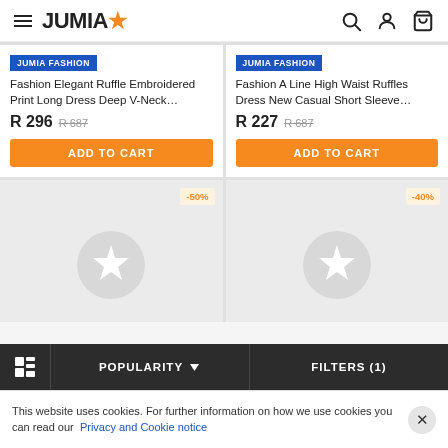JUMIA - menu, search, account, cart icons
[Figure (screenshot): Product card 1: JUMIA FASHION badge, Fashion Elegant Ruffle Embroidered Print Long Dress Deep V-Neck..., R 296, R 687 strikethrough, ADD TO CART button]
[Figure (screenshot): Product card 2: JUMIA FASHION badge, Fashion A Line High Waist Ruffles Dress New Casual Short Sleeve..., R 227, R 687 strikethrough, ADD TO CART button]
[Figure (screenshot): Product card 3 placeholder: -50% discount badge, placeholder star icon image]
[Figure (screenshot): Product card 4 placeholder: -40% discount badge, placeholder star icon image]
POPULARITY  FILTERS (1)
This website uses cookies. For further information on how we use cookies you can read our Privacy and Cookie notice